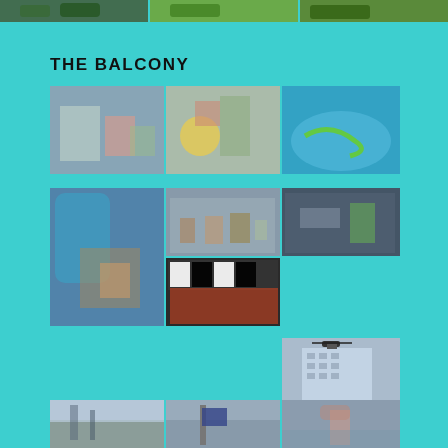[Figure (photo): Top strip with three nature/green photos]
THE BALCONY
[Figure (photo): Three photos of balcony scene with clown mask figures and snake in blue pool]
[Figure (photo): Four photos of balcony scene with dinosaur toys and figures, clapperboard]
[Figure (photo): Photo of building exterior with helicopter]
[Figure (photo): Three photos at bottom showing outdoor scenes with people on balcony]